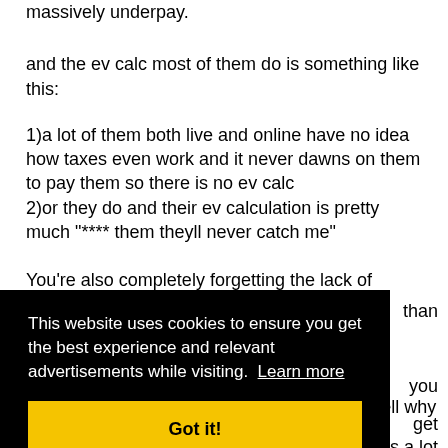massively underpay.
and the ev calc most of them do is something like this:
1)a lot of them both live and online have no idea how taxes even work and it never dawns on them to pay them so there is no ev calc
2)or they do and their ev calculation is pretty much "**** them theyll never catch me"
You're also completely forgetting the lack of record keeping most live players do.
than
you
get
s a lot
harder to hide income when you get a w-2. hell why the ****
[Figure (screenshot): Cookie consent overlay with black background. Text reads: 'This website uses cookies to ensure you get the best experience and relevant advertisements while visiting. Learn more' with a yellow 'Got it!' button.]